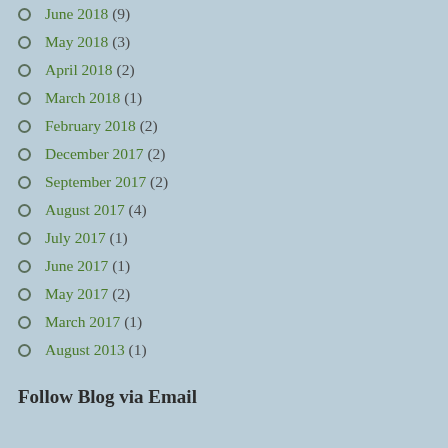June 2018 (9)
May 2018 (3)
April 2018 (2)
March 2018 (1)
February 2018 (2)
December 2017 (2)
September 2017 (2)
August 2017 (4)
July 2017 (1)
June 2017 (1)
May 2017 (2)
March 2017 (1)
August 2013 (1)
Follow Blog via Email